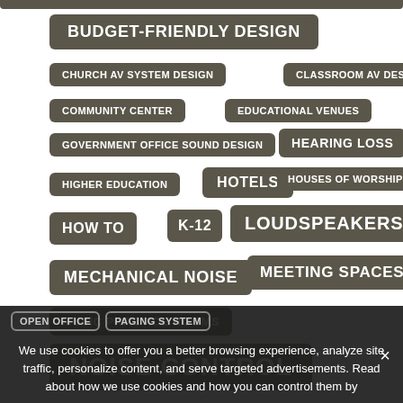BUDGET-FRIENDLY DESIGN
CHURCH AV SYSTEM DESIGN
CLASSROOM AV DESIGN
COMMUNITY CENTER
EDUCATIONAL VENUES
GOVERNMENT OFFICE SOUND DESIGN
HEARING LOSS
HIGHER EDUCATION
HOTELS
HOUSES OF WORSHIP
HOW TO
K-12
LOUDSPEAKERS
MECHANICAL NOISE
MEETING SPACES
MUSIC PRACTICE ROOMS
NOISE CONTROL
OPEN OFFICE
PAGING SYSTEM
We use cookies to offer you a better browsing experience, analyze site traffic, personalize content, and serve targeted advertisements. Read about how we use cookies and how you can control them by